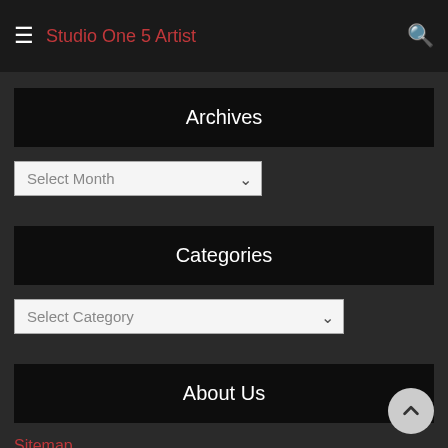Studio One 5 Artist
Archives
Select Month
Categories
Select Category
About Us
Sitemap
Disclosure Policy
Advertise Here
Contact Us